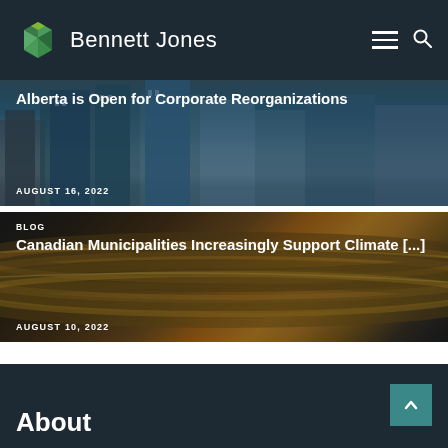Bennett Jones
[Figure (screenshot): Article card with city skyscrapers background. Title: Alberta is Open for Corporate Reorganizations. Date: AUGUST 16, 2022]
[Figure (screenshot): Article card with industrial pipelines background. Label: BLOG. Title: Canadian Municipalities Increasingly Support Climate [...]. Date: AUGUST 10, 2022]
About